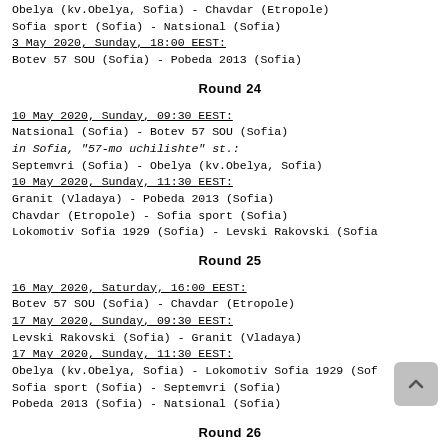Obelya (kv.Obelya, Sofia) - Chavdar (Etropole)
Sofia sport (Sofia) - Natsional (Sofia)
3 May 2020, Sunday, 18:00 EEST:
Botev 57 SOU (Sofia) - Pobeda 2013 (Sofia)
Round 24
10 May 2020, Sunday, 09:30 EEST:
Natsional (Sofia) - Botev 57 SOU (Sofia)
in Sofia, "57-mo uchilishte" st.:
Septemvri (Sofia) - Obelya (kv.Obelya, Sofia)
10 May 2020, Sunday, 11:30 EEST:
Granit (Vladaya) - Pobeda 2013 (Sofia)
Chavdar (Etropole) - Sofia sport (Sofia)
Lokomotiv Sofia 1929 (Sofia) - Levski Rakovski (Sofia)
Round 25
16 May 2020, Saturday, 16:00 EEST:
Botev 57 SOU (Sofia) - Chavdar (Etropole)
17 May 2020, Sunday, 09:30 EEST:
Levski Rakovski (Sofia) - Granit (Vladaya)
17 May 2020, Sunday, 11:30 EEST:
Obelya (kv.Obelya, Sofia) - Lokomotiv Sofia 1929 (Sof)
Sofia sport (Sofia) - Septemvri (Sofia)
Pobeda 2013 (Sofia) - Natsional (Sofia)
Round 26
24 May 2020, Sunday, 09:30 EEST: